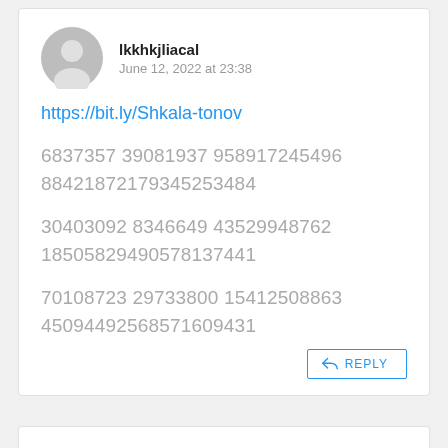[Figure (illustration): Gray circular avatar icon with silhouette of a person]
lkkhkjliacal
June 12, 2022 at 23:38
https://bit.ly/Shkala-tonov
6837357 39081937 958917245496 88421872179345253484
30403092 8346649 43529948762 18505829490578137441
70108723 29733800 15412508863 45094492568571609431
REPLY